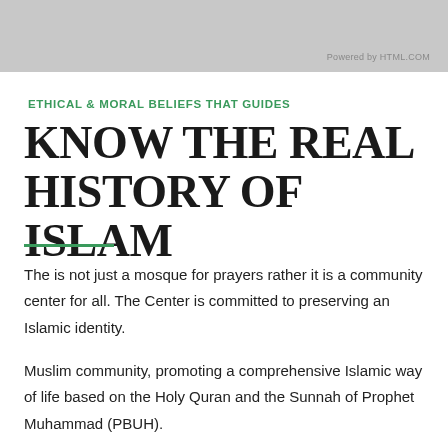[Figure (other): Gray banner header image at the top of the page]
Powered by HTML.COM
ETHICAL & MORAL BELIEFS THAT GUIDES
KNOW THE REAL HISTORY OF ISLAM
The is not just a mosque for prayers rather it is a community center for all. The Center is committed to preserving an Islamic identity.
Muslim community, promoting a comprehensive Islamic way of life based on the Holy Quran and the Sunnah of Prophet Muhammad (PBUH).